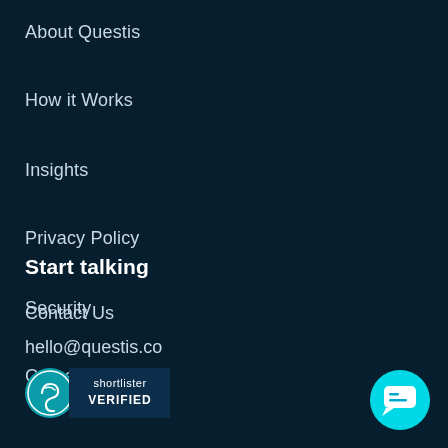About Questis
How it Works
Insights
Privacy Policy
Security
Careers
Start talking
Contact Us
hello@questis.co
[Figure (logo): Shortlister Verified badge logo with circular icon on left and text 'shortlister VERIFIED' on dark blue banner]
[Figure (illustration): Cyan circular chat/message button icon in bottom right corner]